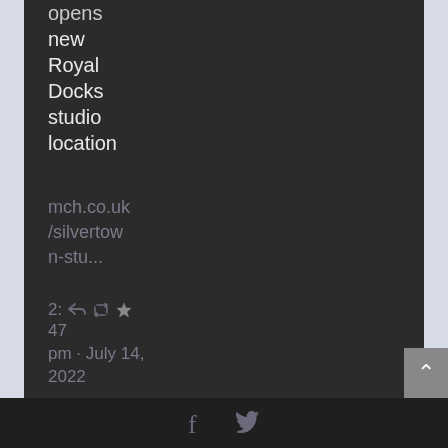opens new Royal Docks studio location
mch.co.uk/silvertown-stu...
2: ↩ ↺ ★
47 pm · July 14, 2022
Facebook Twitter social icons